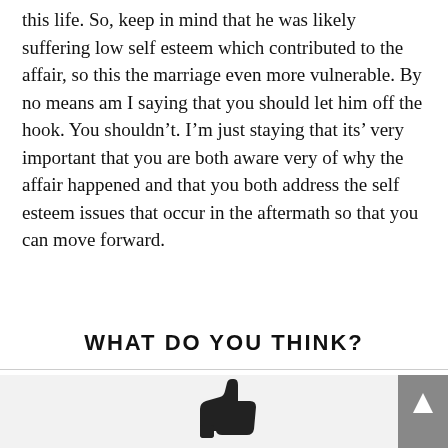this life. So, keep in mind that he was likely suffering low self esteem which contributed to the affair, so this the marriage even more vulnerable. By no means am I saying that you should let him off the hook. You shouldn't. I'm just staying that its' very important that you are both aware very of why the affair happened and that you both address the self esteem issues that occur in the aftermath so that you can move forward.
WHAT DO YOU THINK?